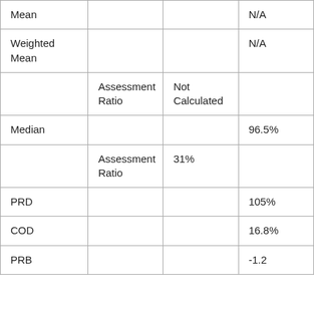| Mean |  |  | N/A |
| Weighted Mean |  |  | N/A |
|  | Assessment Ratio | Not Calculated |  |
| Median |  |  | 96.5% |
|  | Assessment Ratio | 31% |  |
| PRD |  |  | 105% |
| COD |  |  | 16.8% |
| PRB |  |  | -1.2... |